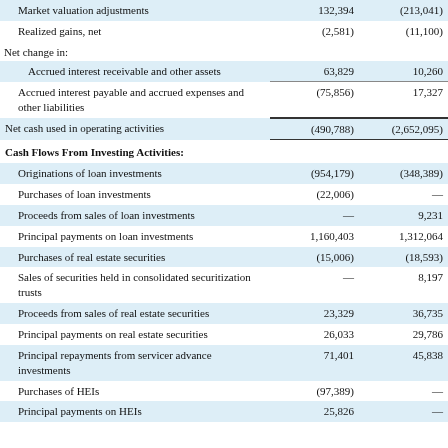|  | Col1 | Col2 |
| --- | --- | --- |
| Market valuation adjustments | 132,394 | (213,041) |
| Realized gains, net | (2,581) | (11,100) |
| Net change in: |  |  |
| Accrued interest receivable and other assets | 63,829 | 10,260 |
| Accrued interest payable and accrued expenses and other liabilities | (75,856) | 17,327 |
| Net cash used in operating activities | (490,788) | (2,652,095) |
| Cash Flows From Investing Activities: |  |  |
| Originations of loan investments | (954,179) | (348,389) |
| Purchases of loan investments | (22,006) | — |
| Proceeds from sales of loan investments | — | 9,231 |
| Principal payments on loan investments | 1,160,403 | 1,312,064 |
| Purchases of real estate securities | (15,006) | (18,593) |
| Sales of securities held in consolidated securitization trusts | — | 8,197 |
| Proceeds from sales of real estate securities | 23,329 | 36,735 |
| Principal payments on real estate securities | 26,033 | 29,786 |
| Principal repayments from servicer advance investments | 71,401 | 45,838 |
| Purchases of HEIs | (97,389) | — |
| Principal payments on HEIs | 25,826 | — |